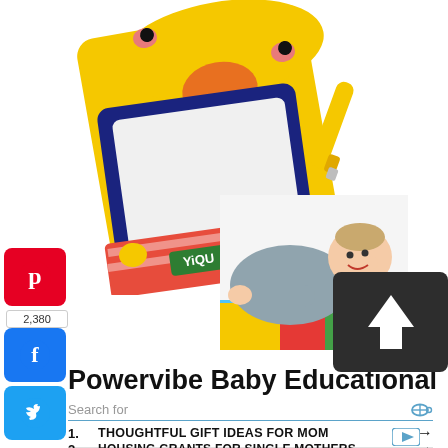[Figure (photo): YiQu duck-themed water drawing mat with water pen accessory, tilted view]
[Figure (photo): Smiling baby lying on tummy on a colorful mat]
[Figure (other): Dark upload/share arrow button overlay]
[Figure (other): Pinterest red button with P logo]
2,380
[Figure (other): Facebook blue button with f logo]
[Figure (other): Twitter blue button with bird logo]
Powervibe Baby Educational
Search for
1. THOUGHTFUL GIFT IDEAS FOR MOM →
2. HOUSING GRANTS FOR SINGLE MOTHERS →